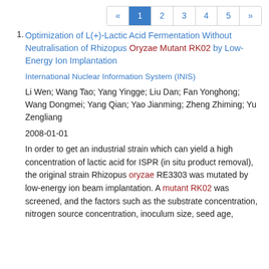« 1 2 3 4 5 »
1. Optimization of L(+)-Lactic Acid Fermentation Without Neutralisation of Rhizopus Oryzae Mutant RK02 by Low-Energy Ion Implantation
International Nuclear Information System (INIS)
Li Wen; Wang Tao; Yang Yingge; Liu Dan; Fan Yonghong; Wang Dongmei; Yang Qian; Yao Jianming; Zheng Zhiming; Yu Zengliang
2008-01-01
In order to get an industrial strain which can yield a high concentration of lactic acid for ISPR (in situ product removal), the original strain Rhizopus oryzae RE3303 was mutated by low-energy ion beam implantation. A mutant RK02 was screened, and the factors such as the substrate concentration, nitrogen source concentration, inoculum size, seed age,